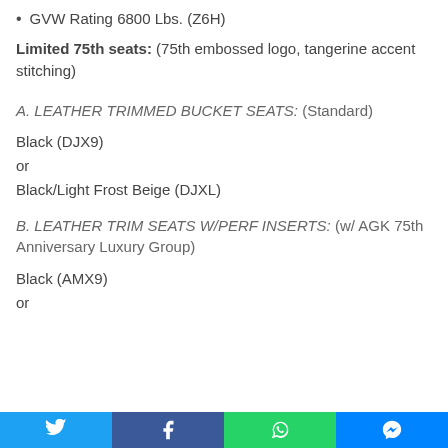GVW Rating 6800 Lbs. (Z6H)
Limited 75th seats: (75th embossed logo, tangerine accent stitching)
A. LEATHER TRIMMED BUCKET SEATS: (Standard)
Black (DJX9)
or
Black/Light Frost Beige (DJXL)
B. LEATHER TRIM SEATS W/PERF INSERTS: (w/ AGK 75th Anniversary Luxury Group)
Black (AMX9)
or